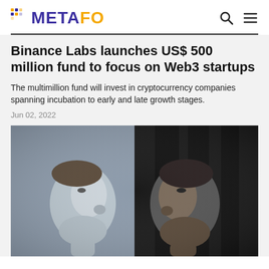METAFO
Binance Labs launches US$ 500 million fund to focus on Web3 startups
The multimillion fund will invest in cryptocurrency companies spanning incubation to early and late growth stages.
Jun 02, 2022
[Figure (photo): Photograph of a person's reflection or two faces in profile, appearing in a dark setting, associated with a Binance Labs article.]